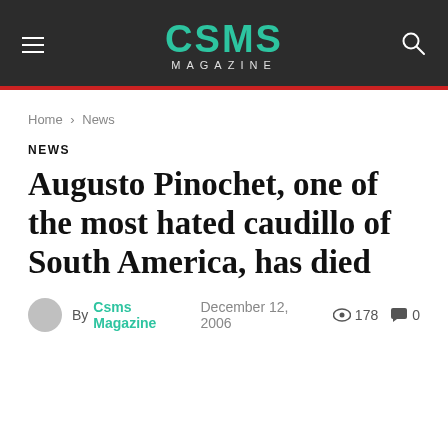CSMS MAGAZINE
Home › News
NEWS
Augusto Pinochet, one of the most hated caudillo of South America, has died
By Csms Magazine   December 12, 2006   178   0